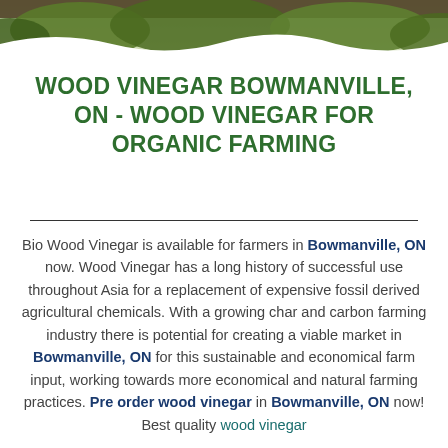[Figure (photo): Top banner photo showing green foliage/farming scene]
WOOD VINEGAR BOWMANVILLE, ON - WOOD VINEGAR FOR ORGANIC FARMING
Bio Wood Vinegar is available for farmers in Bowmanville, ON now. Wood Vinegar has a long history of successful use throughout Asia for a replacement of expensive fossil derived agricultural chemicals. With a growing char and carbon farming industry there is potential for creating a viable market in Bowmanville, ON for this sustainable and economical farm input, working towards more economical and natural farming practices. Pre order wood vinegar in Bowmanville, ON now! Best quality wood vinegar